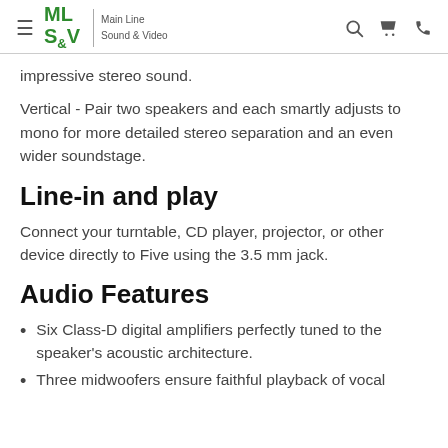ML S&V | Main Line Sound & Video
impressive stereo sound.
Vertical - Pair two speakers and each smartly adjusts to mono for more detailed stereo separation and an even wider soundstage.
Line-in and play
Connect your turntable, CD player, projector, or other device directly to Five using the 3.5 mm jack.
Audio Features
Six Class-D digital amplifiers perfectly tuned to the speaker's acoustic architecture.
Three midwoofers ensure faithful playback of vocal